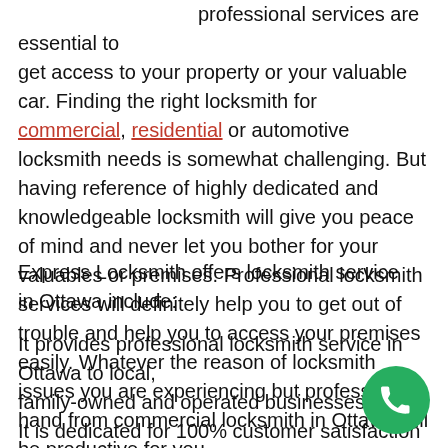professional services are essential to get access to your property or your valuable car. Finding the right locksmith for commercial, residential or automotive locksmith needs is somewhat challenging. But having reference of highly dedicated and knowledgeable locksmith will give you peace of mind and never let you bother for your valuables or premises. Professional locksmith services will definitely help you to get out of trouble and help you to access your premises easily. Whatever the reason of locksmith issues you are experiencing but professional hand from commercial locksmith in Ottawa will be productive for you.
Express Locksmith offers locksmith service in Ottawa include:
It provides professional locksmith service in Ottawa to local, family-owned and operated businesses. It is dedicated for 100% customer satisfaction and does nothing until it successfully unlocks your premises.